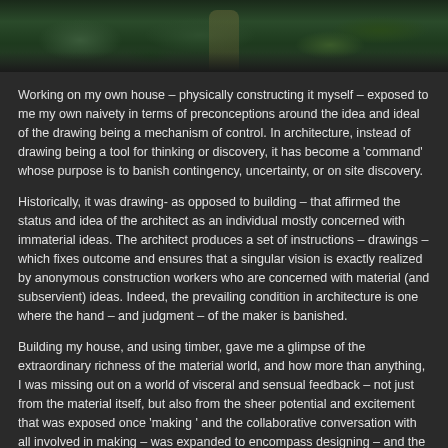[Figure (photo): Photograph of a forest path or dense green vegetation, dark toned nature scene]
Working on my own house – physically constructing it myself – exposed to me my own naivety in terms of preconceptions around the idea and ideal of the drawing being a mechanism of control. In architecture, instead of drawing being a tool for thinking or discovery, it has become a 'command' whose purpose is to banish contingency, uncertainty, or on site discovery.
Historically, it was drawing- as opposed to building – that affirmed the status and idea of the architect as an individual mostly concerned with immaterial ideas. The architect produces a set of instructions – drawings – which fixes outcome and ensures that a singular vision is exactly realized by anonymous construction workers who are concerned with material (and subservient) ideas. Indeed, the prevailing condition in architecture is one where the hand – and judgment – of the maker is banished.
Building my house, and using timber, gave me a glimpse of the extraordinary richness of the material world, and how more than anything, I was missing out on a world of visceral and sensual feedback – not just from the material itself, but also from the sheer potential and excitement that was exposed once 'making ' and the collaborative conversation with all involved in making – was expanded to encompass designing – and the real time uncertainties were brought centre stage in stead of being banished. Looking back now, the evolution of my way of thinking about making